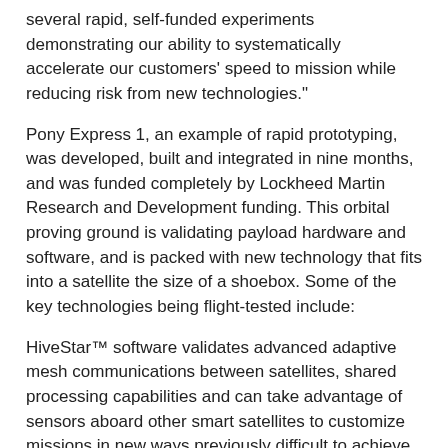several rapid, self-funded experiments demonstrating our ability to systematically accelerate our customers' speed to mission while reducing risk from new technologies."
Pony Express 1, an example of rapid prototyping, was developed, built and integrated in nine months, and was funded completely by Lockheed Martin Research and Development funding. This orbital proving ground is validating payload hardware and software, and is packed with new technology that fits into a satellite the size of a shoebox. Some of the key technologies being flight-tested include:
HiveStar™ software validates advanced adaptive mesh communications between satellites, shared processing capabilities and can take advantage of sensors aboard other smart satellites to customize missions in new ways previously difficult to achieve in space.
A software-defined radio that allows for high-bandwidth hosting of multiple RF applications, store-and-forward RF collection, data compression, digital signal processing and waveform transmission.